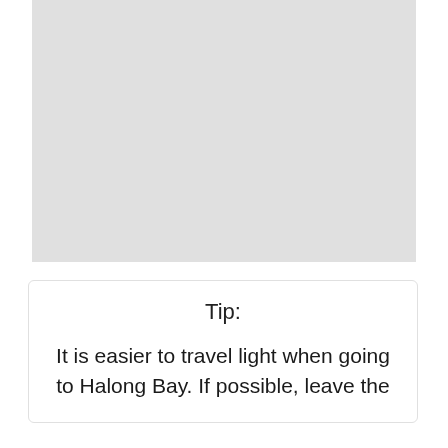[Figure (photo): Large light gray placeholder image occupying the upper portion of the page]
Tip:
It is easier to travel light when going to Halong Bay. If possible, leave the